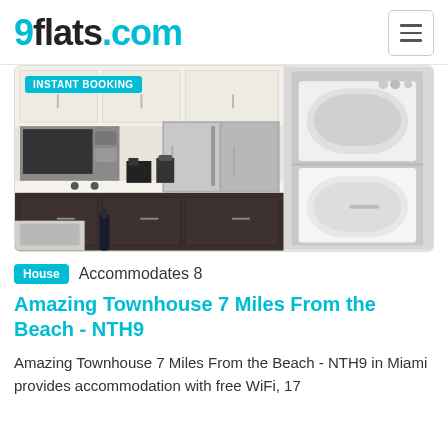9flats.com
[Figure (photo): Photo of a modern kitchen with white upper cabinets, dark lower cabinets, stainless steel appliances including a microwave, refrigerator, and coffee maker on the counter. A second panel shows a stacked white washer and dryer unit in a closet. An 'INSTANT BOOKING' badge appears in the top-left corner.]
House   Accommodates 8
Amazing Townhouse 7 Miles From the Beach - NTH9
Amazing Townhouse 7 Miles From the Beach - NTH9 in Miami provides accommodation with free WiFi, 17